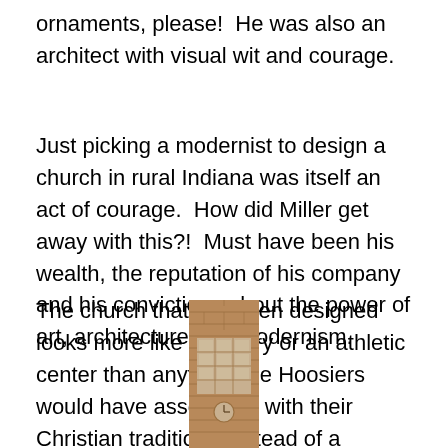ornaments, please!  He was also an architect with visual wit and courage.
Just picking a modernist to design a church in rural Indiana was itself an act of courage.  How did Miller get away with this?!  Must have been his wealth, the reputation of his company and his convictions about the power of art, architecture and modernism.
The church that Saarinen designed looks more like a factory or an athletic center than anything the Hoosiers would have associated with their Christian tradition.  Instead of a steeple, there’s a square brick clock tower!
[Figure (photo): Photograph of a square brick clock tower, partially visible at the bottom of the page, showing a tall rectangular brick structure with a grid of windows near the top and a circular clock face.]